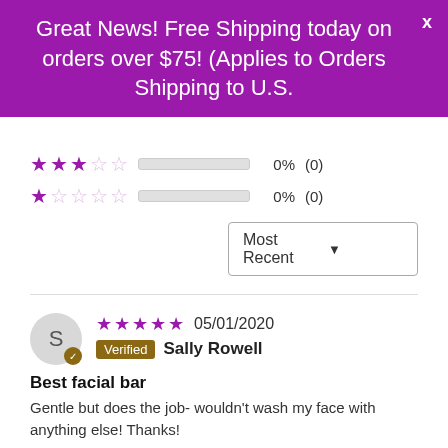Great News! Free Shipping today on orders over $75! (Applies to Orders Shipping to U.S.
[Figure (other): Star rating row: 3 stars filled, 2 empty, bar empty, 0%, (0)]
[Figure (other): Star rating row: 1 star filled, 4 empty, bar empty, 0%, (0)]
Most Recent ▼
★★★★★ 05/01/2020 Verified Sally Rowell
Best facial bar
Gentle but does the job- wouldn't wash my face with anything else! Thanks!
★★★★★ 03/11/2019 Verified Amber Reis